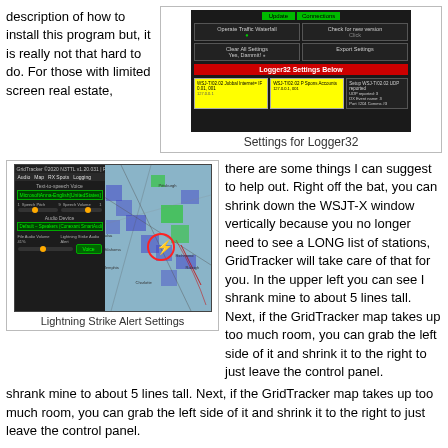description of how to install this program but, it is really not that hard to do.  For those with limited screen real estate,
[Figure (screenshot): Screenshot of Logger32 settings dialog showing various configuration options including traffic waterfall, update settings, and Logger32 Settings Below section with highlighted fields]
Settings for Logger32
[Figure (screenshot): GridTracker application window showing audio settings panel on the left (Text-to-speech Voice, Speech Pitch, Speech Volume, Audio Device, File Audio Volume, Lightning Strike Audio Alert) overlaid on a map view of the eastern United States with blue grid squares and red lightning strike marker]
Lightning Strike Alert Settings
there are some things I can suggest to help out.  Right off the bat, you can shrink down the WSJT-X window vertically because you no longer need to see a LONG list of stations, GridTracker will take care of that for you. In the upper left you can see I shrank mine to about 5 lines tall.  Next, if the GridTracker map takes up too much room, you can grab the left side of it and shrink it to the right to just leave the control panel.